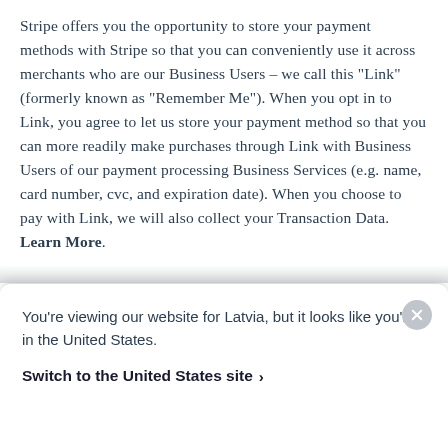Stripe offers you the opportunity to store your payment methods with Stripe so that you can conveniently use it across merchants who are our Business Users – we call this “Link” (formerly known as “Remember Me”). When you opt in to Link, you agree to let us store your payment method so that you can more readily make purchases through Link with Business Users of our payment processing Business Services (e.g. name, card number, cvc, and expiration date). When you choose to pay with Link, we will also collect your Transaction Data. Learn More.
If you choose to share bank account information (including for use in Link) with
You’re viewing our website for Latvia, but it looks like you’re in the United States.
Switch to the United States site >